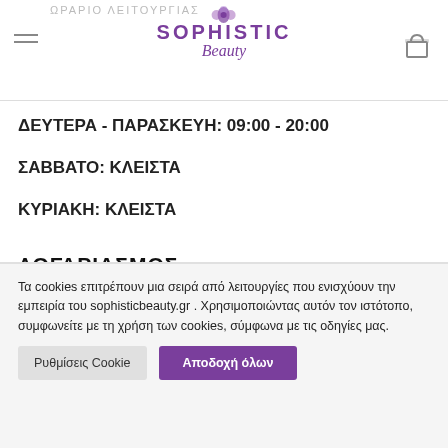ΩΡΑΡΙΟ ΛΕΙΤΟΥΡΓΙΑΣ | SOPHISTIC Beauty
ΔΕΥΤΕΡΑ - ΠΑΡΑΣΚΕΥΗ: 09:00 - 20:00
ΣΑΒΒΑΤΟ: ΚΛΕΙΣΤΑ
ΚΥΡΙΑΚΗ: ΚΛΕΙΣΤΑ
ΛΟΓΑΡΙΑΣΜΟΣ
Τα cookies επιτρέπουν μια σειρά από λειτουργίες που ενισχύουν την εμπειρία του sophisticbeauty.gr . Χρησιμοποιώντας αυτόν τον ιστότοπο, συμφωνείτε με τη χρήση των cookies, σύμφωνα με τις οδηγίες μας.
Ρυθμίσεις Cookie | Αποδοχή όλων